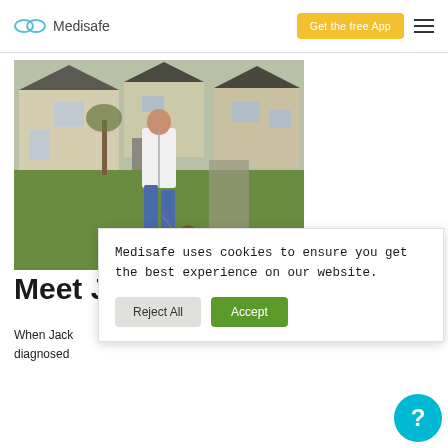Medisafe — Get the free App
[Figure (photo): Man in white jacket walking a dog on a leash along a path in a suburban area with green grass and houses in the background]
Medisafe uses cookies to ensure you get the best experience on our website.
Reject All   Accept
Meet Ja...
When Jack diagnosed